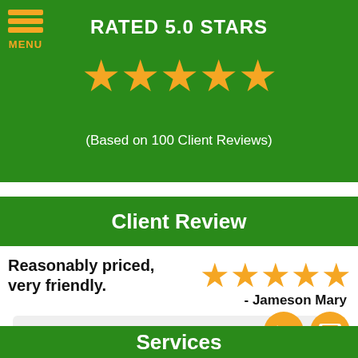[Figure (infographic): Green banner with menu icon, RATED 5.0 STARS text, 5 gold stars, and '(Based on 100 Client Reviews)' text]
Client Review
Reasonably priced, very friendly.
Reasonably priced, very friendly. The office was very professional. Whenever I had questions, calls, or emails sent their way they were quick to get us a response. The foreman Davi... read more
- Jameson Mary
Services